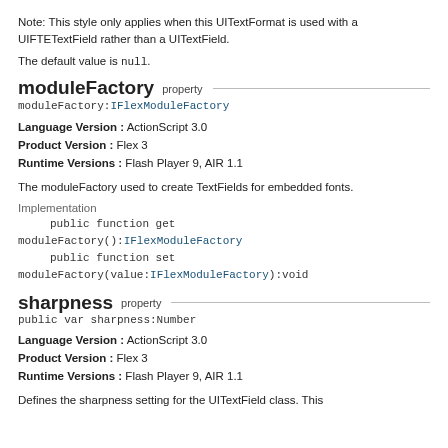Note: This style only applies when this UITextFormat is used with a UIFTETextField rather than a UITextField.
The default value is null.
moduleFactory  property
moduleFactory:IFlexModuleFactory
Language Version : ActionScript 3.0
Product Version : Flex 3
Runtime Versions : Flash Player 9, AIR 1.1
The moduleFactory used to create TextFields for embedded fonts.
Implementation
public function get moduleFactory():IFlexModuleFactory
public function set moduleFactory(value:IFlexModuleFactory):void
sharpness  property
public var sharpness:Number
Language Version : ActionScript 3.0
Product Version : Flex 3
Runtime Versions : Flash Player 9, AIR 1.1
Defines the sharpness setting for the UITextField class. This